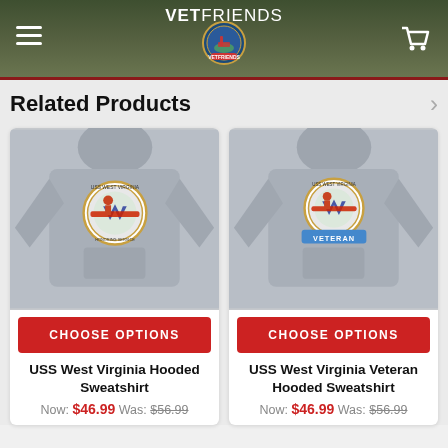VETFRIENDS
Related Products
[Figure (photo): Gray hooded sweatshirt with USS West Virginia circular emblem on chest]
CHOOSE OPTIONS
USS West Virginia Hooded Sweatshirt
Now: $46.99  Was: $56.99
[Figure (photo): Gray hooded sweatshirt with USS West Virginia Veteran circular emblem and VETERAN banner on chest]
CHOOSE OPTIONS
USS West Virginia Veteran Hooded Sweatshirt
Now: $46.99  Was: $56.99